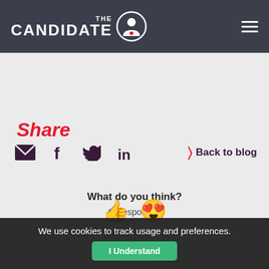THE CANDIDATE
Share
[Figure (other): Social share icons: email, Facebook, Twitter, LinkedIn, and Back to blog link]
What do you think?
0 Responses
[Figure (other): Emoji reactions: thumbs up and heart eyes]
We use cookies to track usage and preferences.
I Understand